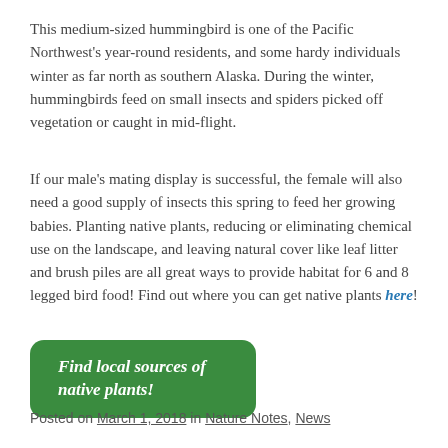This medium-sized hummingbird is one of the Pacific Northwest's year-round residents, and some hardy individuals winter as far north as southern Alaska. During the winter, hummingbirds feed on small insects and spiders picked off vegetation or caught in mid-flight.
If our male's mating display is successful, the female will also need a good supply of insects this spring to feed her growing babies. Planting native plants, reducing or eliminating chemical use on the landscape, and leaving natural cover like leaf litter and brush piles are all great ways to provide habitat for 6 and 8 legged bird food! Find out where you can get native plants here!
[Figure (other): Green rounded rectangle button with bold italic white text reading 'Find local sources of native plants!']
Posted on March 1, 2018 in Nature Notes, News